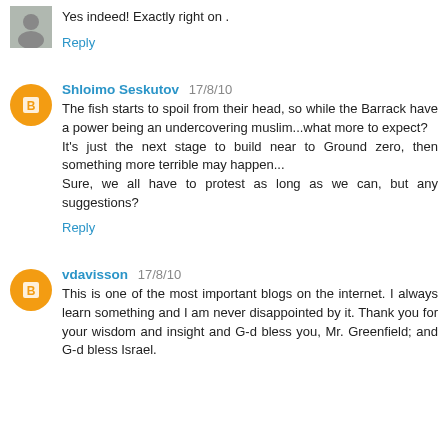Yes indeed! Exactly right on .
Reply
Shloimo Seskutov 17/8/10
The fish starts to spoil from their head, so while the Barrack have a power being an undercovering muslim...what more to expect?
It's just the next stage to build near to Ground zero, then something more terrible may happen...
Sure, we all have to protest as long as we can, but any suggestions?
Reply
vdavisson 17/8/10
This is one of the most important blogs on the internet. I always learn something and I am never disappointed by it. Thank you for your wisdom and insight and G-d bless you, Mr. Greenfield; and G-d bless Israel.